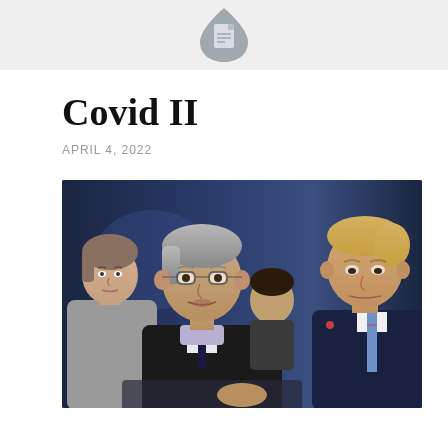DocLayNet logo icon
Covid II
APRIL 4, 2022
[Figure (photo): Press briefing scene showing Dr. Anthony Fauci speaking at a podium, with a woman in grey behind him on the left and Donald Trump in a dark suit with a blue tie on the right, against a blue background in what appears to be the White House briefing room.]